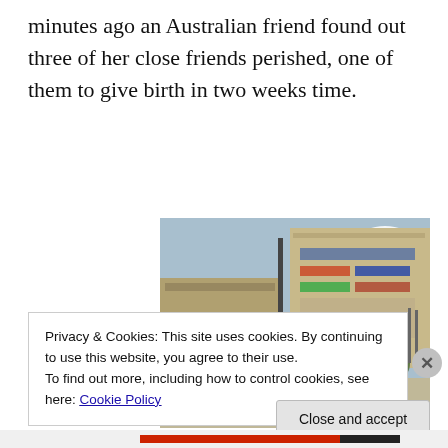minutes ago an Australian friend found out three of her close friends perished, one of them to give birth in two weeks time.
[Figure (photo): People running outside a multi-story shopping mall building during an emergency. Several people are fleeing, one man is carrying a child. A security guard in a green vest stands to the left. Motorcycles parked nearby. Blue sky with clouds.]
Privacy & Cookies: This site uses cookies. By continuing to use this website, you agree to their use.
To find out more, including how to control cookies, see here: Cookie Policy
Close and accept